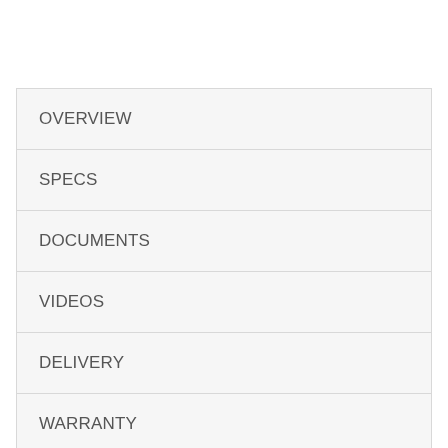OVERVIEW
SPECS
DOCUMENTS
VIDEOS
DELIVERY
WARRANTY
REVIEWS (2778)